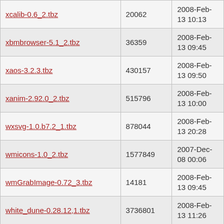| Name | Size | Date |
| --- | --- | --- |
| xcalib-0.6_2.tbz | 20062 | 2008-Feb-13 10:13 |
| xbmbrowser-5.1_2.tbz | 36359 | 2008-Feb-13 09:45 |
| xaos-3.2.3.tbz | 430157 | 2008-Feb-13 09:50 |
| xanim-2.92.0_2.tbz | 515796 | 2008-Feb-13 10:00 |
| wxsvg-1.0.b7.2_1.tbz | 878044 | 2008-Feb-13 20:28 |
| wmicons-1.0_2.tbz | 1577849 | 2007-Dec-08 00:06 |
| wmGrabImage-0.72_3.tbz | 14181 | 2008-Feb-13 09:45 |
| white_dune-0.28.12,1.tbz | 3736801 | 2008-Feb-13 11:26 |
| whirlgif-3.04.tbz | 16554 | 2007-Dec-08 00:05 |
| vvv-1.0_2.tbz | 70446 | 2008-Feb-13 12:48 |
| vtk-tcl-4.4_2.tbz | 937994 | 2007-Dec-08 11:04 |